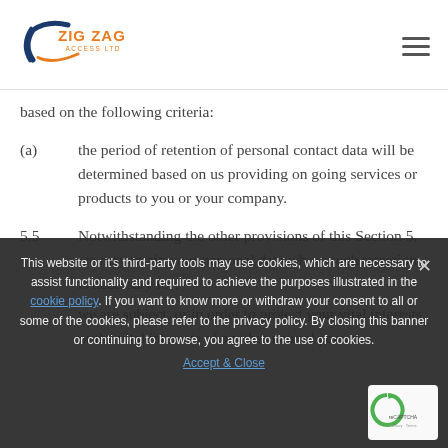Zig Zag Access Ltd logo and navigation
based on the following criteria:
(a) the period of retention of personal contact data will be determined based on us providing on going services or products to you or your company.
5.5 Notwithstanding the other provisions of this Section 5, we may retain your personal data where such retention is necessary for:
we are subject, or in order to protect your vital interests or the vital interests of another natural person.
This website or it's third-party tools may use cookies, which are necessary to assist functionality and required to achieve the purposes illustrated in the cookie policy. If you want to know more or withdraw your consent to all or some of the cookies, please refer to the privacy policy. By closing this banner or continuing to browse, you agree to the use of cookies.
Accept & Close